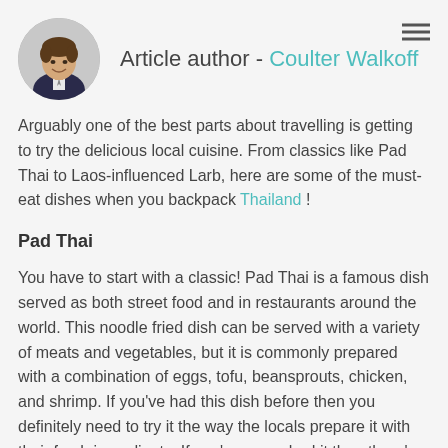[Figure (photo): Circular profile photo of article author Coulter Walkoff, a young man in a suit smiling]
Article author - Coulter Walkoff
Arguably one of the best parts about travelling is getting to try the delicious local cuisine. From classics like Pad Thai to Laos-influenced Larb, here are some of the must-eat dishes when you backpack Thailand !
Pad Thai
You have to start with a classic! Pad Thai is a famous dish served as both street food and in restaurants around the world. This noodle fried dish can be served with a variety of meats and vegetables, but it is commonly prepared with a combination of eggs, tofu, beansprouts, chicken, and shrimp. If you've had this dish before then you definitely need to try it the way the locals prepare it with their fresh ingredients. If you've never had it then there's no better place for your first